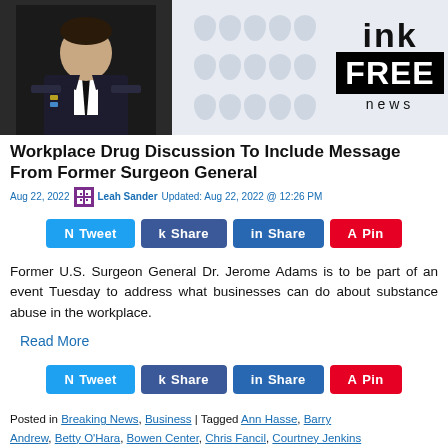[Figure (photo): Header image with a man in military/formal uniform on the left, decorative water drop pattern in center, and Ink Free News logo on the right]
Workplace Drug Discussion To Include Message From Former Surgeon General
Aug 22, 2022  Leah Sander  Updated: Aug 22, 2022 @ 12:26 PM
[Figure (infographic): Social share buttons row: N (Twitter), k (Facebook), in (LinkedIn), A (Pinterest)]
Former U.S. Surgeon General Dr. Jerome Adams is to be part of an event Tuesday to address what businesses can do about substance abuse in the workplace.
Read More
[Figure (infographic): Second social share buttons row: N (Twitter), k (Facebook), in (LinkedIn), A (Pinterest)]
Posted in Breaking News, Business | Tagged Ann Hasse, Barry Andrew, Betty O'Hara, Bowen Center, Chris Fancil, Courtney Jenkins